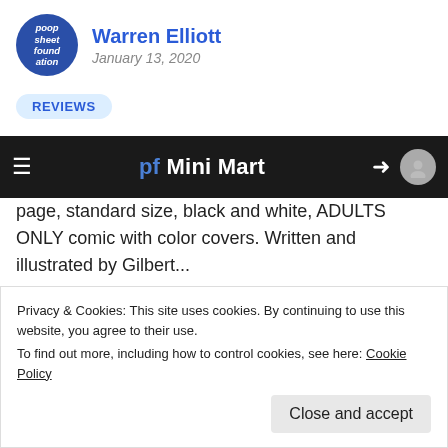[Figure (logo): Round blue circle logo with white italic text reading 'poop sheet foundation']
Warren Elliott
January 13, 2020
REVIEWS
Blubber
[Figure (screenshot): Dark navigation bar with hamburger menu, 'pf Mini Mart' brand text, sign-in arrow icon, and grey profile circle]
page, standard size, black and white, ADULTS ONLY comic with color covers. Written and illustrated by Gilbert...
Like this:
Privacy & Cookies: This site uses cookies. By continuing to use this website, you agree to their use.
To find out more, including how to control cookies, see here: Cookie Policy